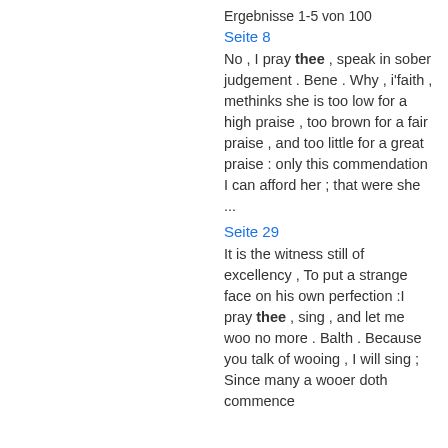Ergebnisse 1-5 von 100
Seite 8
No , I pray thee , speak in sober judgement . Bene . Why , i'faith , methinks she is too low for a high praise , too brown for a fair praise , and too little for a great praise : only this commendation I can afford her ; that were she ...
Seite 29
It is the witness still of excellency , To put a strange face on his own perfection :I pray thee , sing , and let me woo no more . Balth . Because you talk of wooing , I will sing ; Since many a wooer doth commence